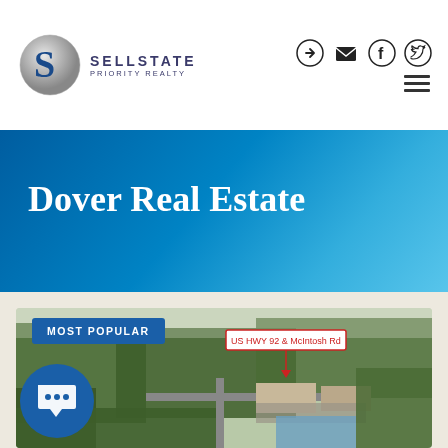[Figure (logo): Sellstate Priority Realty logo with silver S sphere icon and blue text]
[Figure (illustration): Navigation icons: login, email, Facebook, Twitter circle icons and hamburger menu]
Dover Real Estate
[Figure (photo): Aerial drone photo of Dover real estate property at US HWY 92 & Mcintosh Rd, showing forested area with a commercial development]
MOST POPULAR
[Figure (illustration): Blue chat bubble button with three dots (...)]